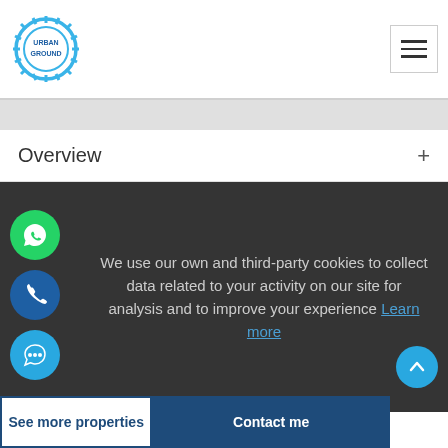Urban Ground logo and navigation menu
Overview +
We use our own and third-party cookies to collect data related to your activity on our site for analysis and to improve your experience Learn more
⚠ Someone has just booked this apartment online and is no longer available
See more properties | Contact me